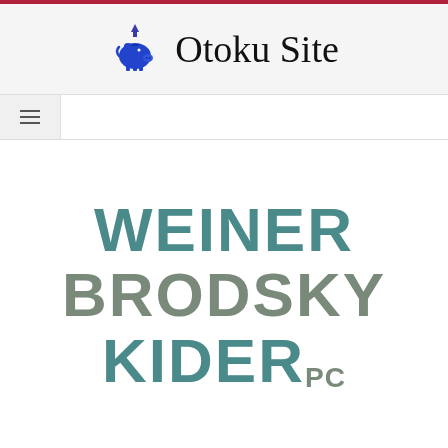Otoku Site
[Figure (logo): Otoku Site logo with blue piggy bank icon and site name in serif font]
[Figure (logo): Weiner Brodsky Kider PC law firm logo in teal and sage green bold sans-serif text]